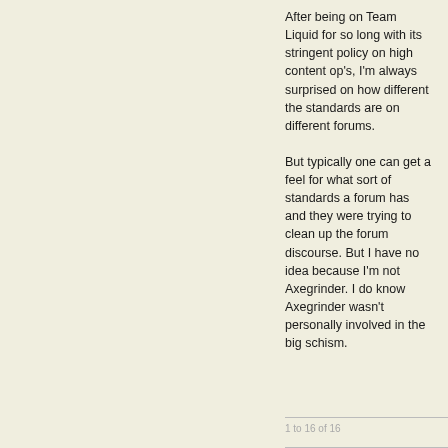After being on Team Liquid for so long with its stringent policy on high content op's, I'm always surprised on how different the standards are on different forums.
But typically one can get a feel for what sort of standards a forum has and they were trying to clean up the forum discourse. But I have no idea because I'm not Axegrinder. I do know Axegrinder wasn't personally involved in the big schism.
1 to 16 of 16